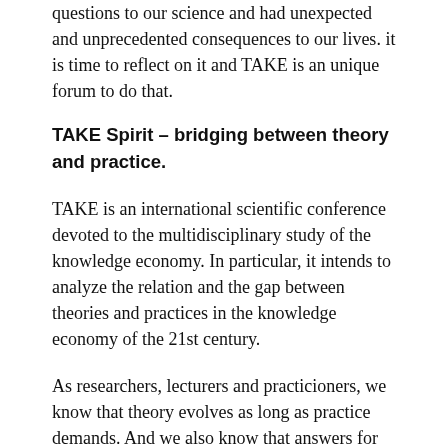questions to our science and had unexpected and unprecedented consequences to our lives. it is time to reflect on it and TAKE is an unique forum to do that.
TAKE Spirit – bridging between theory and practice.
TAKE is an international scientific conference devoted to the multidisciplinary study of the knowledge economy. In particular, it intends to analyze the relation and the gap between theories and practices in the knowledge economy of the 21st century.
As researchers, lecturers and practicioners, we know that theory evolves as long as practice demands. And we also know that answers for social problems require multidisciplinary efforts. Many times social scientists live in silos. We believe not only theory should meet practice but also scientist with different perspectives should